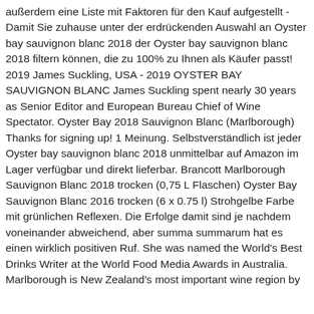außerdem eine Liste mit Faktoren für den Kauf aufgestellt - Damit Sie zuhause unter der erdrückenden Auswahl an Oyster bay sauvignon blanc 2018 der Oyster bay sauvignon blanc 2018 filtern können, die zu 100% zu Ihnen als Käufer passt! 2019 James Suckling, USA - 2019 OYSTER BAY SAUVIGNON BLANC James Suckling spent nearly 30 years as Senior Editor and European Bureau Chief of Wine Spectator. Oyster Bay 2018 Sauvignon Blanc (Marlborough) Thanks for signing up! 1 Meinung. Selbstverständlich ist jeder Oyster bay sauvignon blanc 2018 unmittelbar auf Amazon im Lager verfügbar und direkt lieferbar. Brancott Marlborough Sauvignon Blanc 2018 trocken (0,75 L Flaschen) Oyster Bay Sauvignon Blanc 2016 trocken (6 x 0.75 l) Strohgelbe Farbe mit grünlichen Reflexen. Die Erfolge damit sind je nachdem voneinander abweichend, aber summa summarum hat es einen wirklich positiven Ruf. She was named the World's Best Drinks Writer at the World Food Media Awards in Australia. Marlborough is New Zealand's most important wine region by